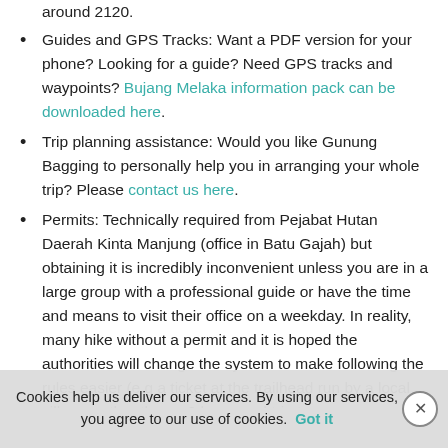around 2120.
Guides and GPS Tracks: Want a PDF version for your phone? Looking for a guide? Need GPS tracks and waypoints? Bujang Melaka information pack can be downloaded here.
Trip planning assistance: Would you like Gunung Bagging to personally help you in arranging your whole trip? Please contact us here.
Permits: Technically required from Pejabat Hutan Daerah Kinta Manjung (office in Batu Gajah) but obtaining it is incredibly inconvenient unless you are in a large group with a professional guide or have the time and means to visit their office on a weekday. In reality, many hike without a permit and it is hoped the authorities will change the system to make following the rules easier (e.g a ticket at the trailhead run by a local villager rather than a 2 hour road trip to a government
Cookies help us deliver our services. By using our services, you agree to our use of cookies. Got it